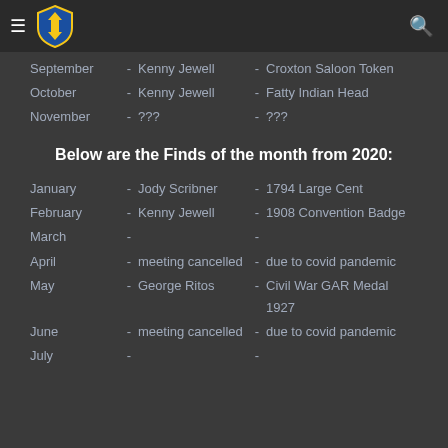San Antonio Numismatic Association
September - Kenny Jewell - Croxton Saloon Token
October - Kenny Jewell - Fatty Indian Head
November - ??? - ???
Below are the Finds of the month from 2020:
January - Jody Scribner - 1794 Large Cent
February - Kenny Jewell - 1908 Convention Badge
March - -
April - meeting cancelled - due to covid pandemic
May - George Ritos - Civil War GAR Medal 1927
June - meeting cancelled - due to covid pandemic
July - -